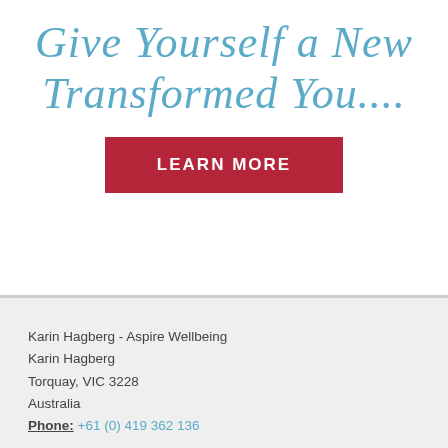Give Yourself a New Transformed You....
LEARN MORE
Karin Hagberg - Aspire Wellbeing
Karin Hagberg
Torquay, VIC 3228
Australia
Phone: +61 (0) 419 362 136